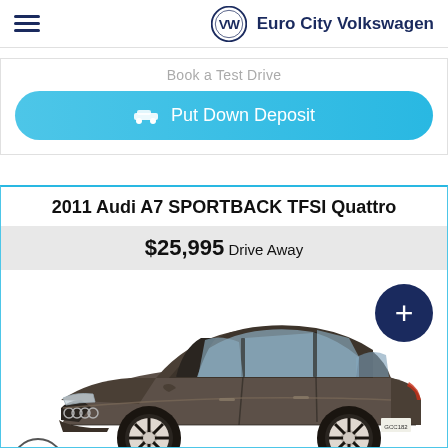Euro City Volkswagen
Book a Test Drive
Put Down Deposit
2011 Audi A7 SPORTBACK TFSI Quattro
$25,995 Drive Away
[Figure (photo): 2011 Audi A7 Sportback TFSI Quattro in dark grey/brown colour, photographed from a front three-quarter angle in a studio setting]